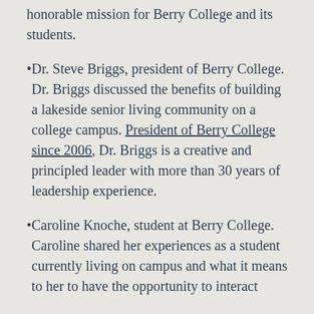honorable mission for Berry College and its students.
Dr. Steve Briggs, president of Berry College. Dr. Briggs discussed the benefits of building a lakeside senior living community on a college campus. President of Berry College since 2006, Dr. Briggs is a creative and principled leader with more than 30 years of leadership experience.
Caroline Knoche, student at Berry College. Caroline shared her experiences as a student currently living on campus and what it means to her to have the opportunity to interact